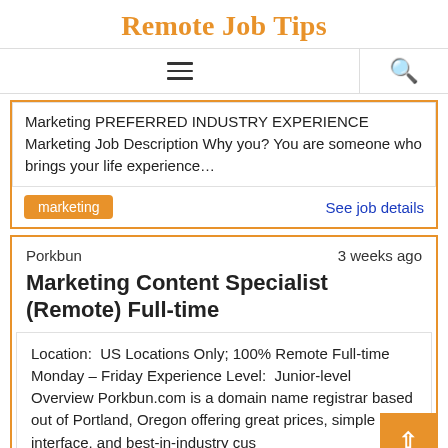Remote Job Tips
Marketing PREFERRED INDUSTRY EXPERIENCE Marketing Job Description Why you? You are someone who brings your life experience…
marketing
See job details
Porkbun   3 weeks ago
Marketing Content Specialist (Remote) Full-time
Location:  US Locations Only; 100% Remote Full-time Monday – Friday Experience Level:  Junior-level Overview Porkbun.com is a domain name registrar based out of Portland, Oregon offering great prices, simple user interface, and best-in-industry cus